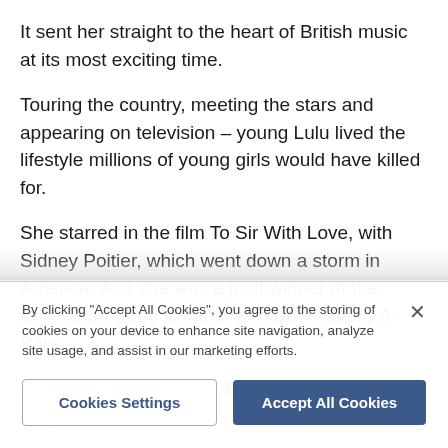It sent her straight to the heart of British music at its most exciting time.
Touring the country, meeting the stars and appearing on television – young Lulu lived the lifestyle millions of young girls would have killed for.
She starred in the film To Sir With Love, with Sidney Poitier, which went down a storm in America. And she was a joint winner of the Eurovision Song Contest with Boom Bang-A-Bang.
Marriage came early, to Maurice Gibb, and the couple
By clicking "Accept All Cookies", you agree to the storing of cookies on your device to enhance site navigation, analyze site usage, and assist in our marketing efforts.
Cookies Settings
Accept All Cookies